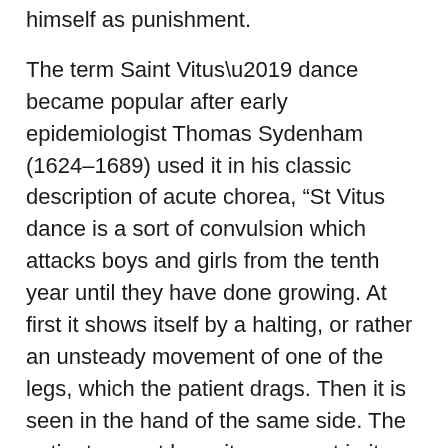himself as punishment.
The term Saint Vitus’ dance became popular after early epidemiologist Thomas Sydenham (1624–1689) used it in his classic description of acute chorea, “St Vitus dance is a sort of convulsion which attacks boys and girls from the tenth year until they have done growing. At first it shows itself by a halting, or rather an unsteady movement of one of the legs, which the patient drags. Then it is seen in the hand of the same side. The patient cannot keep it a moment in its place, whether he lay it upon his breast or any other part of his body. Do what he may, it will be jerked elsewhere convulsively.”
The Miracle of Saint Vitus, on this month’s cover, is an account of chorea-like illness. As the clinical features were heterogeneous, Saint Vitus’ dance became an umbrella term for an assortment of kinetic disorders.